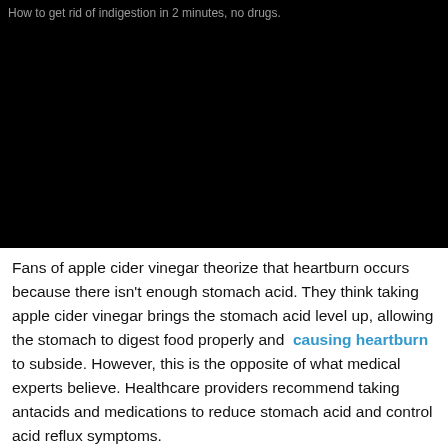[Figure (screenshot): Black video player frame with gray text caption at top left reading 'How to get rid of indigestion in 2 minutes, no drugs.']
Fans of apple cider vinegar theorize that heartburn occurs because there isn't enough stomach acid. They think taking apple cider vinegar brings the stomach acid level up, allowing the stomach to digest food properly and causing heartburn to subside. However, this is the opposite of what medical experts believe. Healthcare providers recommend taking antacids and medications to reduce stomach acid and control acid reflux symptoms.